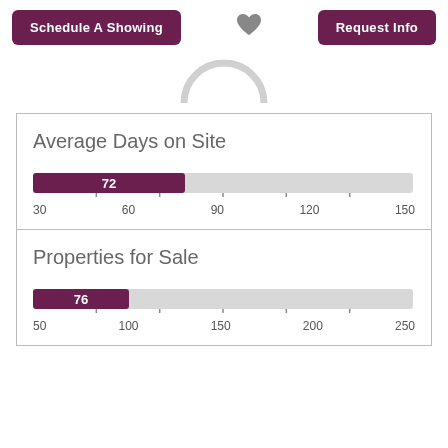Schedule A Showing
Request Info
[Figure (bar-chart): Average Days on Site]
[Figure (bar-chart): Properties for Sale]